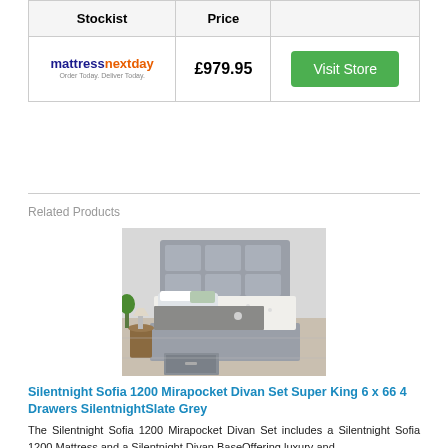| Stockist | Price |  |
| --- | --- | --- |
| mattressnextday | £979.95 | Visit Store |
Related Products
[Figure (photo): A grey upholstered divan bed with a tufted mattress and a square-panelled headboard, shown with a storage drawer open at the base, in a light bedroom setting.]
Silentnight Sofia 1200 Mirapocket Divan Set Super King 6 x 66 4 Drawers SilentnightSlate Grey
The Silentnight Sofia 1200 Mirapocket Divan Set includes a Silentnight Sofia 1200 Mattress and a Silentnight Divan BaseOffering luxury and